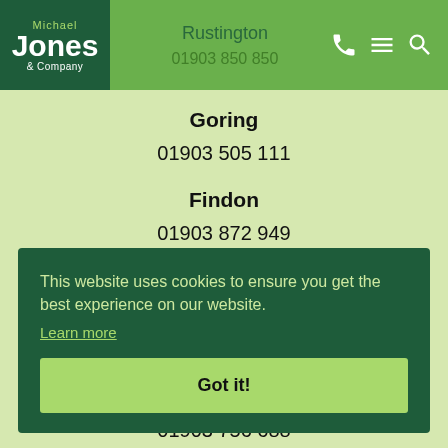Michael Jones & Company | Rustington | 01903 850 850
Goring
01903 505 111
Findon
01903 872 949
Ferring
This website uses cookies to ensure you get the best experience on our website. Learn more
Got it!
01903 756 688